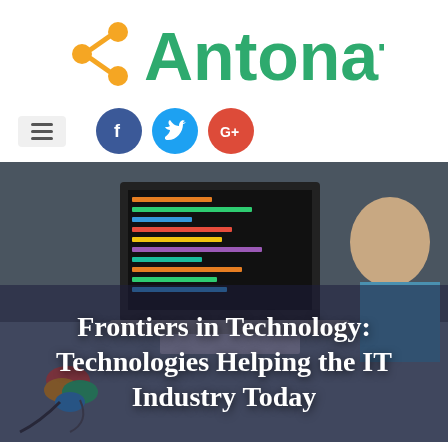[Figure (logo): Antonaf logo with orange network/share icon and green text 'Antonaf']
[Figure (infographic): Navigation bar with hamburger menu icon on left and three social media circles (Facebook blue, Twitter light blue, Google+ red) in center]
[Figure (photo): Person working at laptop with colorful code on screen, with colorful mice on desk in foreground]
Frontiers in Technology: Technologies Helping the IT Industry Today